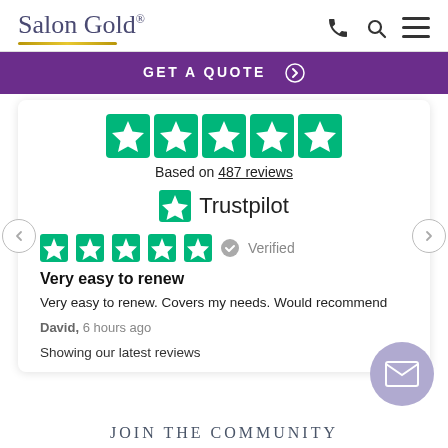Salon Gold®
GET A QUOTE ➡
Based on 487 reviews
[Figure (logo): Trustpilot logo with green star and text 'Trustpilot']
★★★★★  ✔ Verified
Very easy to renew
Very easy to renew. Covers my needs. Would recommend
David, 6 hours ago
Showing our latest reviews
JOIN THE COMMUNITY